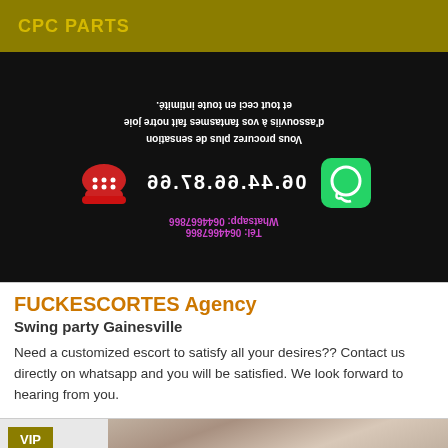CPC PARTS
[Figure (photo): Dark background image with mirrored/flipped French text, a red telephone icon, phone number 06.44.66.87.66 displayed mirrored, WhatsApp green icon, and contact details for Tel: 0644667866 and Whatsapp: 0644667866 in purple text, all displayed upside-down/mirrored]
FUCKESCORTES Agency
Swing party Gainesville
Need a customized escort to satisfy all your desires?? Contact us directly on whatsapp and you will be satisfied. We look forward to hearing from you.
[Figure (photo): VIP badge on gold/olive background with partial photo of a person]